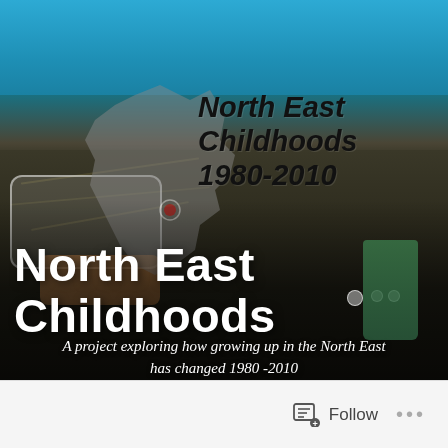[Figure (photo): Background photo of a child's hands holding a smartphone near the ground/soil, with blue jacket visible at top. A grey silhouette map of North East England overlays the upper-centre of the image.]
North East Childhoods 1980-2010
North East Childhoods
A project exploring how growing up in the North East has changed 1980 -2010
Follow ...